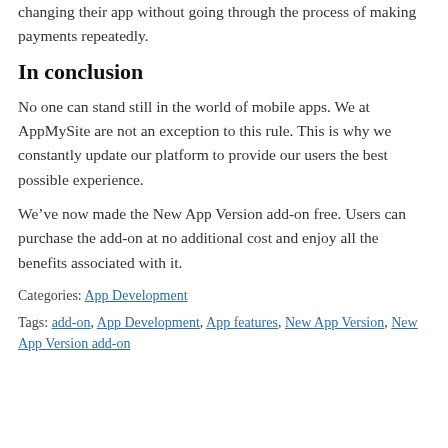changing their app without going through the process of making payments repeatedly.
In conclusion
No one can stand still in the world of mobile apps. We at AppMySite are not an exception to this rule. This is why we constantly update our platform to provide our users the best possible experience.
We’ve now made the New App Version add-on free. Users can purchase the add-on at no additional cost and enjoy all the benefits associated with it.
Categories: App Development
Tags: add-on, App Development, App features, New App Version, New App Version add-on